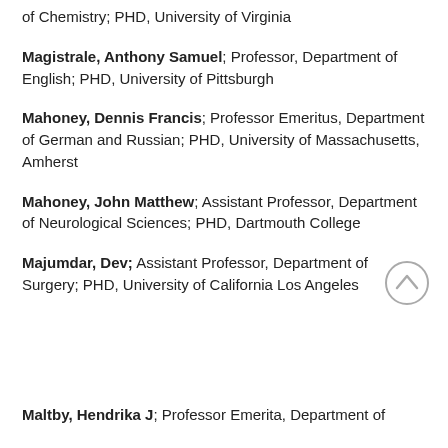of Chemistry; PHD, University of Virginia
Magistrale, Anthony Samuel; Professor, Department of English; PHD, University of Pittsburgh
Mahoney, Dennis Francis; Professor Emeritus, Department of German and Russian; PHD, University of Massachusetts, Amherst
Mahoney, John Matthew; Assistant Professor, Department of Neurological Sciences; PHD, Dartmouth College
Majumdar, Dev; Assistant Professor, Department of Surgery; PHD, University of California Los Angeles
Maltby, Hendrika J; Professor Emerita, Department of